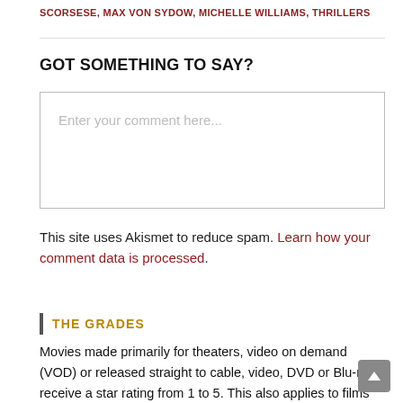SCORSESE, MAX VON SYDOW, MICHELLE WILLIAMS, THRILLERS
GOT SOMETHING TO SAY?
Enter your comment here...
This site uses Akismet to reduce spam. Learn how your comment data is processed.
THE GRADES
Movies made primarily for theaters, video on demand (VOD) or released straight to cable, video, DVD or Blu-ray receive a star rating from 1 to 5. This also applies to films originally made for a theatrical premiere but then sold to streaming services.